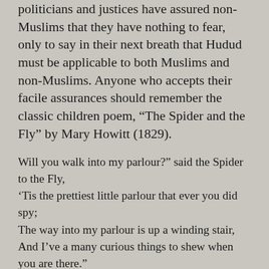politicians and justices have assured non-Muslims that they have nothing to fear, only to say in their next breath that Hudud must be applicable to both Muslims and non-Muslims. Anyone who accepts their facile assurances should remember the classic children poem, “The Spider and the Fly” by Mary Howitt (1829).
Will you walk into my parlour?” said the Spider to the Fly,
‘Tis the prettiest little parlour that ever you did spy;
The way into my parlour is up a winding stair,
And I’ve a many curious things to shew when you are there.”
Oh no, no,” said the little Fly, “to ask me is in vain,
For who goes up your winding stair can ne’er come down again.”